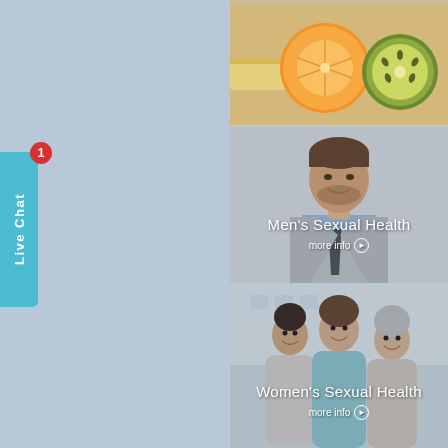[Figure (photo): Cut orange and kiwi fruit with a measuring tape, top panel]
[Figure (photo): Professional man in suit and tie smiling, Men's Sexual Health section]
Men's Sexual Health
more info ❯
[Figure (photo): Three women of different ages laughing together outdoors, Women's Sexual Health section]
Women's Sexual Health
more info ❯
Live Chat
1